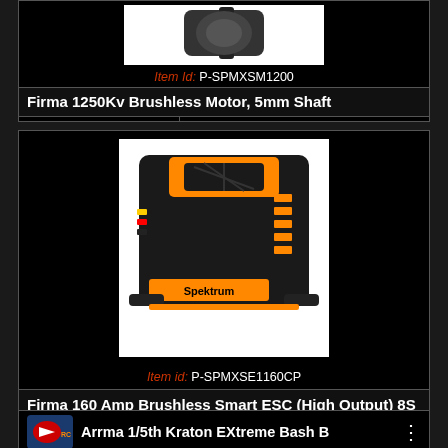[Figure (photo): Partial product card top: brushless motor image (partially cropped at top), item id P-SPMXSM1200, product name Firma 1250Kv Brushless Motor 5mm Shaft, price SSP: £159.99]
Item id: P-SPMXSM1200
Firma 1250Kv Brushless Motor, 5mm Shaft
SSP: £159.99
[Figure (photo): Spektrum Firma 160 Amp Brushless Smart ESC (High Output) 8S product image — black and orange ESC controller unit]
Item id: P-SPMXSE1160CP
Firma 160 Amp Brushless Smart ESC (High Output) 8S
SSP: £249.99
[Figure (photo): Partial product card at bottom: Logic RC logo and beginning of product name Arrma 1/5th Kraton EXtreme Bash B...]